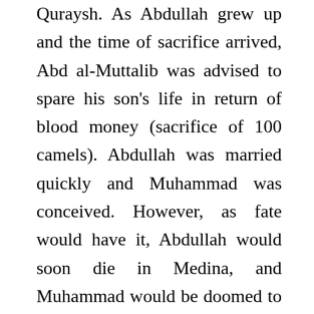Quraysh. As Abdullah grew up and the time of sacrifice arrived, Abd al-Muttalib was advised to spare his son's life in return of blood money (sacrifice of 100 camels). Abdullah was married quickly and Muhammad was conceived. However, as fate would have it, Abdullah would soon die in Medina, and Muhammad would be doomed to a life of an orphan. Amina, his mother, hires Halima, a Beduin (vagabond) as his wet-nurse. This makes Muhammad, much open in his outlook, almost a Beduin in a highly fractured, orthodox society. It was only apt that he was troubled by the inequality among people in his society.